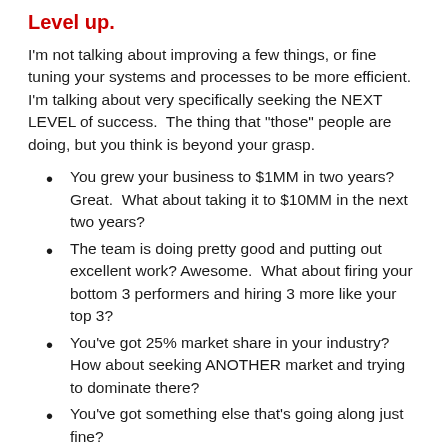Level up.
I'm not talking about improving a few things, or fine tuning your systems and processes to be more efficient.  I'm talking about very specifically seeking the NEXT LEVEL of success.  The thing that "those" people are doing, but you think is beyond your grasp.
You grew your business to $1MM in two years?  Great.  What about taking it to $10MM in the next two years?
The team is doing pretty good and putting out excellent work? Awesome.  What about firing your bottom 3 performers and hiring 3 more like your top 3?
You've got 25% market share in your industry? How about seeking ANOTHER market and trying to dominate there?
You've got something else that's going along just fine?